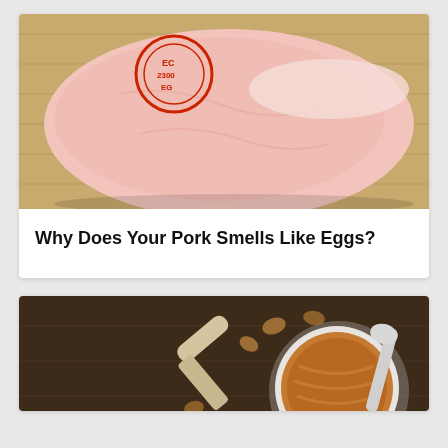[Figure (photo): A raw pork cut with a red circular inspection stamp on it, placed on a wooden cutting board surface.]
Why Does Your Pork Smells Like Eggs?
[Figure (photo): An open jar of peanut butter on a dark wooden surface, with a spoon inside and peanuts scattered around, along with a small measuring spoon.]